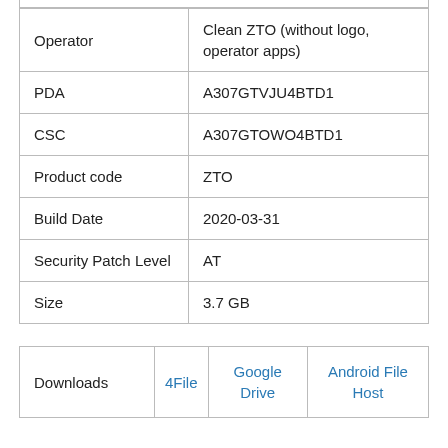| Field | Value |
| --- | --- |
| Operator | Clean ZTO (without logo, operator apps) |
| PDA | A307GTVJU4BTD1 |
| CSC | A307GTOWO4BTD1 |
| Product code | ZTO |
| Build Date | 2020-03-31 |
| Security Patch Level | AT |
| Size | 3.7 GB |
| Downloads | 4File | Google Drive | Android File Host |
| --- | --- | --- | --- |